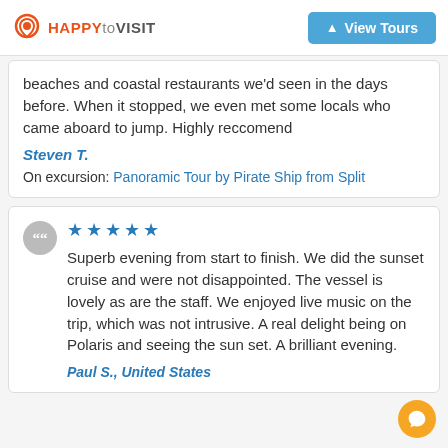HAPPYtoVISIT | View Tours
beaches and coastal restaurants we'd seen in the days before. When it stopped, we even met some locals who came aboard to jump. Highly reccomend
Steven T.
On excursion: Panoramic Tour by Pirate Ship from Split
★★★★★ Superb evening from start to finish. We did the sunset cruise and were not disappointed. The vessel is lovely as are the staff. We enjoyed live music on the trip, which was not intrusive. A real delight being on Polaris and seeing the sun set. A brilliant evening.
Paul S., United States